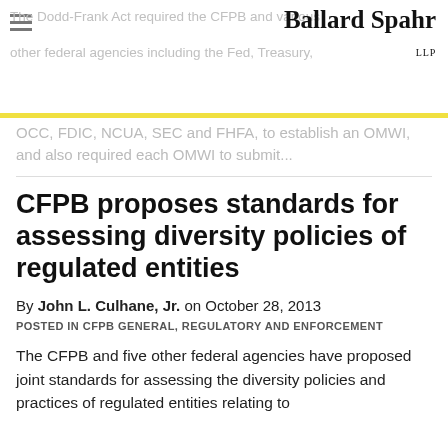The Dodd-Frank Act required the CFPB and various other federal agencies including the Fed, Treasury, OCC, FDIC, NCUA, SEC and FHFA, to establish an OMWI, and also required each OMWI to submit...
CFPB proposes standards for assessing diversity policies of regulated entities
By John L. Culhane, Jr. on October 28, 2013
POSTED IN CFPB GENERAL, REGULATORY AND ENFORCEMENT
The CFPB and five other federal agencies have proposed joint standards for assessing the diversity policies and practices of regulated entities relating to